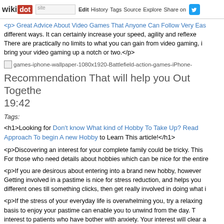wikidot | site | Edit | History | Tags | Source | Explore | Share on [Twitter]
<p> Great Advice About Video Games That Anyone Can Follow Very Eas... different ways. It can certainly increase your speed, agility and reflexe... There are practically no limits to what you can gain from video gaming, i... bring your video gaming up a notch or two.</p>
[Figure (other): Broken image placeholder with filename: games-iphone-wallpaper-1080x1920-Battlefield-action-games-iPhone-...]
Recommendation That will help you Out Togethe... 19:42
Tags:
<h1>Looking for Don't know What kind of Hobby To Take Up? Read ... Approach To begin A new Hobby to Learn This article!</h1>
<p>Discovering an interest for your complete family could be tricky. This... For those who need details about hobbies which can be nice for the entire...
<p>If you are desirous about entering into a brand new hobby, however... Getting involved in a pastime is nice for stress reduction, and helps you... different ones till something clicks, then get really involved in doing what i...
<p>If the stress of your everyday life is overwhelming you, try a relaxing... basis to enjoy your pastime can enable you to unwind from the day. T... interest to patients who have bother with anxiety. Your interest will clear a... </p>
<p>Select a hobby that contrasts with what you do at work. In case you...